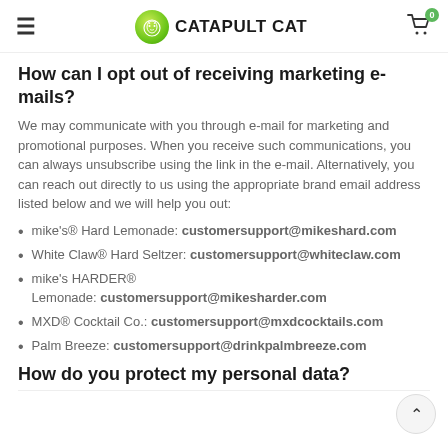CATAPULT CAT
How can I opt out of receiving marketing e-mails?
We may communicate with you through e-mail for marketing and promotional purposes. When you receive such communications, you can always unsubscribe using the link in the e-mail. Alternatively, you can reach out directly to us using the appropriate brand email address listed below and we will help you out:
mike's® Hard Lemonade: customersupport@mikeshard.com
White Claw® Hard Seltzer: customersupport@whiteclaw.com
mike's HARDER® Lemonade: customersupport@mikesharder.com
MXD® Cocktail Co.: customersupport@mxdcocktails.com
Palm Breeze: customersupport@drinkpalmbreeze.com
How do you protect my personal data?